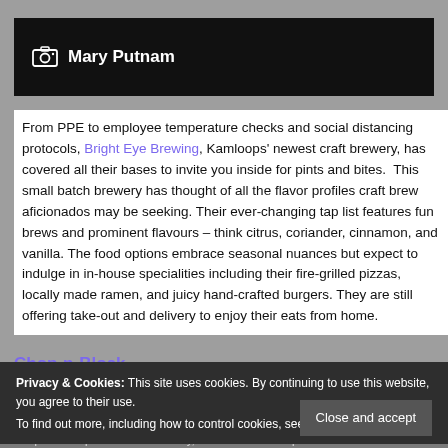[Figure (photo): Black header bar with camera icon and photo credit 'Mary Putnam' in white bold text on black background]
From PPE to employee temperature checks and social distancing protocols, Bright Eye Brewing, Kamloops' newest craft brewery, has covered all their bases to invite you inside for pints and bites. This small batch brewery has thought of all the flavor profiles craft brew aficionados may be seeking. Their ever-changing tap list features fun brews and prominent flavours – think citrus, coriander, cinnamon, and vanilla. The food options embrace seasonal nuances but expect to indulge in in-house specialities including their fire-grilled pizzas, locally made ramen, and juicy hand-crafted burgers. They are still offering take-out and delivery to enjoy their eats from home.
Chop-n-Block
Privacy & Cookies: This site uses cookies. By continuing to use this website, you agree to their use.
To find out more, including how to control cookies, see here: Cookie Policy
Chop-n-Block provides drool-worthy, local meats. Pick-up favourites